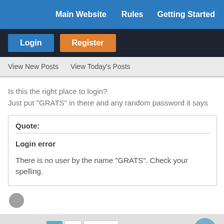Main Website   Rules   Getting Started
Login   Register
View New Posts   View Today's Posts
Is this the right place to login?
Just put "GRATS" in there and any random password it says
Quote:
Login error
There is no user by the name "GRATS". Check your spelling.
Pages (2):  1  2  Next »